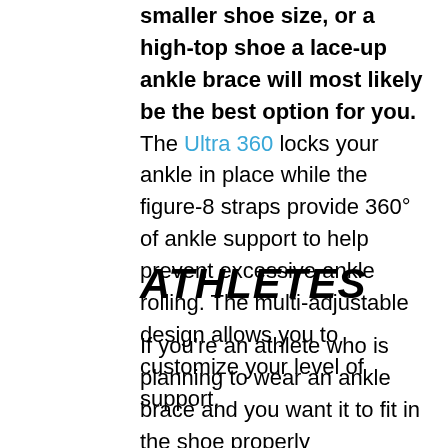smaller shoe size, or a high-top shoe a lace-up ankle brace will most likely be the best option for you. The Ultra 360 locks your ankle in place while the figure-8 straps provide 360° of ankle support to help prevent excessive ankle rolling. The multi-adjustable design allows you to customize your level of support.
ATHLETES
If you're an athlete who is planning to wear an ankle brace and you want it to fit in the shoe properly